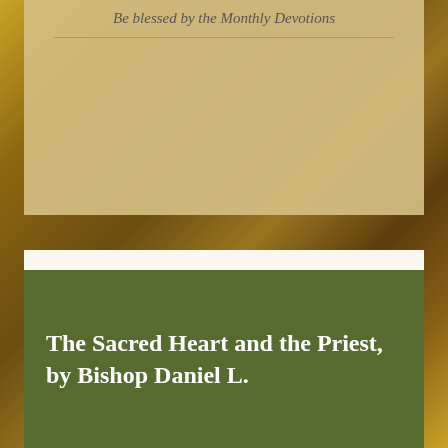Be blessed by the Monthly Devotions
Looking for something?
Search ...
The Sacred Heart and the Priest, by Bishop Daniel L.